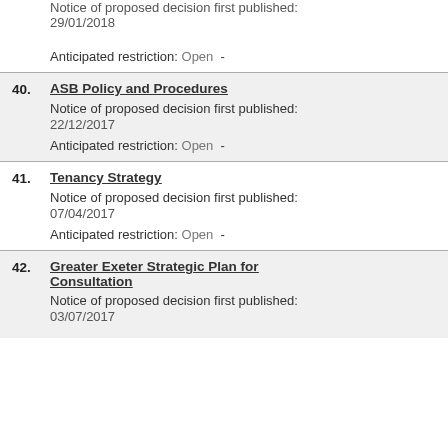Notice of proposed decision first published: 29/01/2018
Anticipated restriction: Open -
40. ASB Policy and Procedures
Notice of proposed decision first published: 22/12/2017
Anticipated restriction: Open -
41. Tenancy Strategy
Notice of proposed decision first published: 07/04/2017
Anticipated restriction: Open -
42. Greater Exeter Strategic Plan for Consultation
Notice of proposed decision first published: 03/07/2017